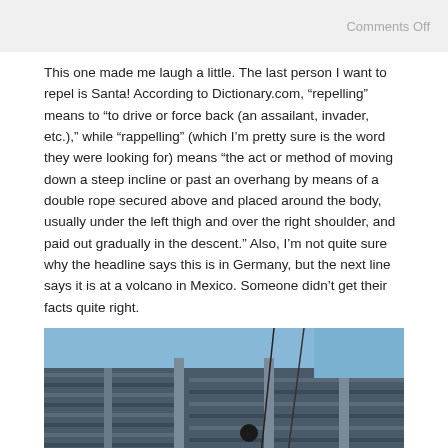Comments Off
This one made me laugh a little. The last person I want to repel is Santa! According to Dictionary.com, “repelling” means to “to drive or force back (an assailant, invader, etc.),” while “rappelling” (which I’m pretty sure is the word they were looking for) means “the act or method of moving down a steep incline or past an overhang by means of a double rope secured above and placed around the body, usually under the left thigh and over the right shoulder, and paid out gradually in the descent.” Also, I’m not quite sure why the headline says this is in Germany, but the next line says it is at a volcano in Mexico. Someone didn’t get their facts quite right.
[Figure (photo): Photo taken from below looking up at a large brutalist-style concrete building facade with horizontal ridged panels against a blue sky. A watermark reading 'That Blog' is visible in the lower right area.]